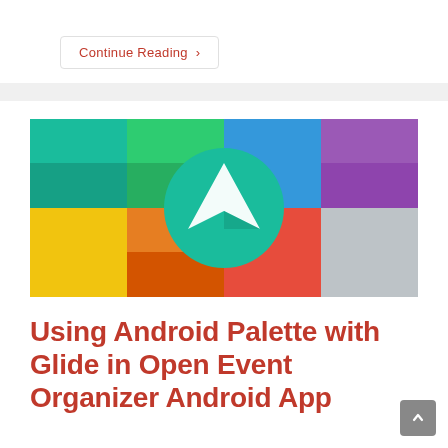Continue Reading ›
[Figure (illustration): A grid of colorful squares (teal, green, blue, purple, yellow, orange, red, light gray) with a circular app icon in the center featuring a white paper plane / upward arrow logo on a teal background — the Android Palette color grid with the Open Event Organizer app logo overlay.]
Using Android Palette with Glide in Open Event Organizer Android App